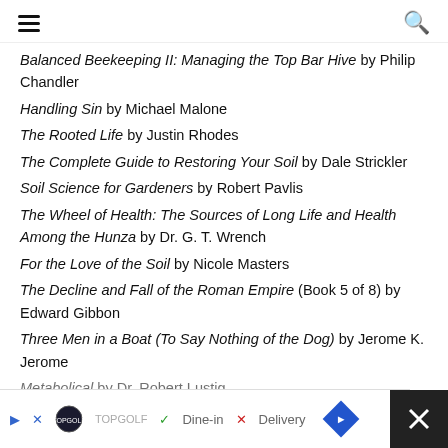Navigation menu and search icon
Balanced Beekeeping II: Managing the Top Bar Hive by Philip Chandler
Handling Sin by Michael Malone
The Rooted Life by Justin Rhodes
The Complete Guide to Restoring Your Soil by Dale Strickler
Soil Science for Gardeners by Robert Pavlis
The Wheel of Health: The Sources of Long Life and Health Among the Hunza by Dr. G. T. Wrench
For the Love of the Soil by Nicole Masters
The Decline and Fall of the Roman Empire (Book 5 of 8) by Edward Gibbon
Three Men in a Boat (To Say Nothing of the Dog) by Jerome K. Jerome
Metabolical by Dr. Robert Lustig